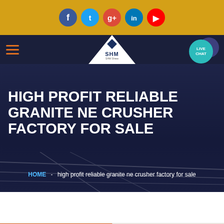[Figure (screenshot): Social media icon bar with Facebook, Twitter, Google+, LinkedIn, YouTube icons on golden/amber background]
[Figure (screenshot): Navigation bar with hamburger menu, SHM logo on white triangle, and Live Chat button]
HIGH PROFIT RELIABLE GRANITE NE CRUSHER FACTORY FOR SALE
HOME  -  high profit reliable granite ne crusher factory for sale
Get a Quote
WhatsApp